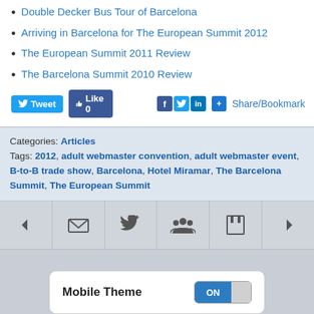Double Decker Bus Tour of Barcelona
Arriving in Barcelona for The European Summit 2012
The European Summit 2011 Review
The Barcelona Summit 2010 Review
[Figure (screenshot): Social sharing buttons: Tweet, Like 0, Facebook icon, Twitter icon, LinkedIn icon, Share/Bookmark button]
Categories: Articles
Tags: 2012, adult webmaster convention, adult webmaster event, B-to-B trade show, Barcelona, Hotel Miramar, The Barcelona Summit, The European Summit
[Figure (screenshot): Navigation bar with icons: back arrow, email/envelope, bird/tweet, group/people, bookmark, forward arrow]
[Figure (screenshot): Mobile Theme toggle switch set to ON]
All content Copyright Pimps Promo
Powered by WordPress + WPtouch 1.9.35